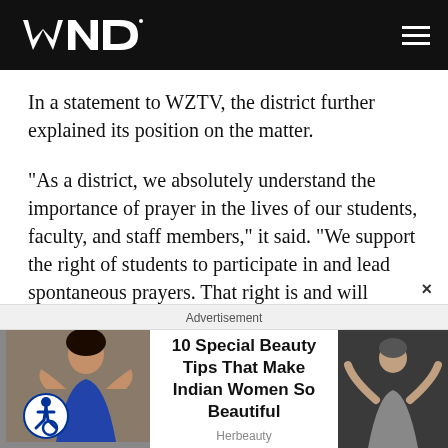WND
In a statement to WZTV, the district further explained its position on the matter.
"As a district, we absolutely understand the importance of prayer in the lives of our students, faculty, and staff members," it said. "We support the right of students to participate in and lead spontaneous prayers. That right is and will continue to be protected.
Advertisement
10 Special Beauty Tips That Make Indian Women So Beautiful
Herbeauty